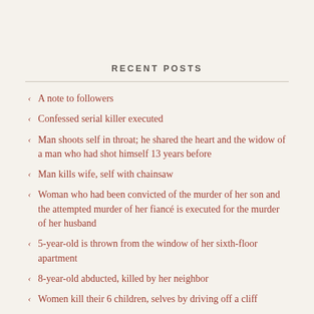RECENT POSTS
A note to followers
Confessed serial killer executed
Man shoots self in throat; he shared the heart and the widow of a man who had shot himself 13 years before
Man kills wife, self with chainsaw
Woman who had been convicted of the murder of her son and the attempted murder of her fiancé is executed for the murder of her husband
5-year-old is thrown from the window of her sixth-floor apartment
8-year-old abducted, killed by her neighbor
Women kill their 6 children, selves by driving off a cliff